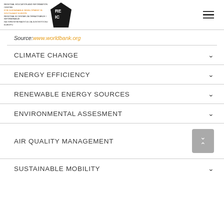REIC - Regional Education and Information Centre for Sustainable Development in South-East Europe
Source: www.worldbank.org
CLIMATE CHANGE
ENERGY EFFICIENCY
RENEWABLE ENERGY SOURCES
ENVIRONMENTAL ASSESMENT
AIR QUALITY MANAGEMENT
SUSTAINABLE MOBILITY